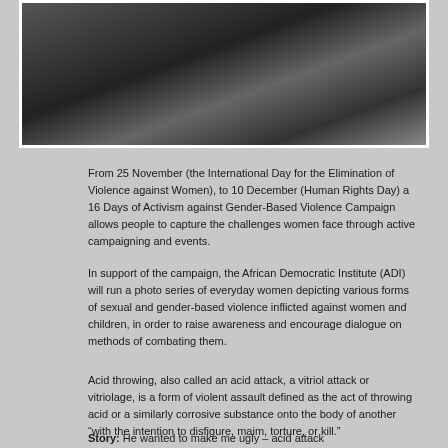[Figure (photo): Black and white photo of a woman's face and neck, partially cropped]
From 25 November (the International Day for the Elimination of Violence against Women), to 10 December (Human Rights Day) a 16 Days of Activism against Gender-Based Violence Campaign allows people to capture the challenges women face through active campaigning and events.
In support of the campaign, the African Democratic Institute (ADI) will run a photo series of everyday women depicting various forms of sexual and gender-based violence inflicted against women and children, in order to raise awareness and encourage dialogue on methods of combating them.
Acid throwing, also called an acid attack, a vitriol attack or vitriolage, is a form of violent assault defined as the act of throwing acid or a similarly corrosive substance onto the body of another “with the intention to disfigure, maim, torture, or kill.”
Story: He wanted to make me ugly – acid attack